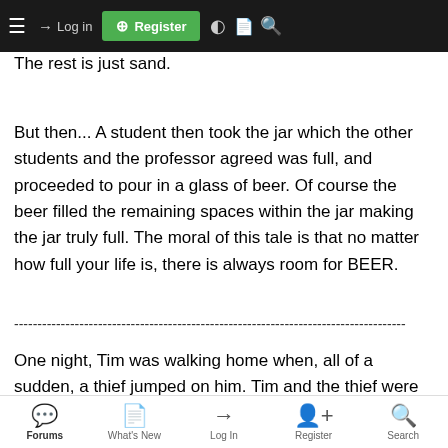Navigation bar with hamburger menu, Log in, Register, and search icons
the house, give a dinner party and fix the disposal. Take care of the big rocks first - the things that matter most. The rest is just sand.
But then... A student then took the jar which the other students and the professor agreed was full, and proceeded to pour in a glass of beer. Of course the beer filled the remaining spaces within the jar making the jar truly full. The moral of this tale is that no matter how full your life is, there is always room for BEER.
------------------------------------------------------------------------------------
One night, Tim was walking home when, all of a sudden, a thief jumped on him. Tim and the thief were began to wrestle. They rolled about on the ground and Tim put up a tremendous fight. However, the thief managed to get the better of him and pinned him to the
Forums | What's New | Log In | Register | Search